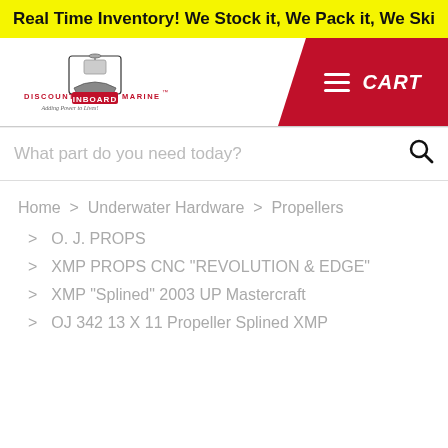Real Time Inventory! We Stock it, We Pack it, We Ski
[Figure (logo): Discount Inboard Marine logo with boat graphic and tagline 'Adding Power to Lives!']
What part do you need today?
Home > Underwater Hardware > Propellers
> O. J. PROPS
> XMP PROPS CNC "REVOLUTION & EDGE"
> XMP "Splined" 2003 UP Mastercraft
> OJ 342 13 X 11 Propeller Splined XMP